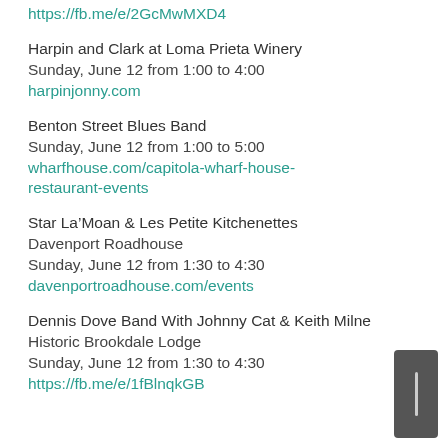https://fb.me/e/2GcMwMXD4
Harpin and Clark at Loma Prieta Winery
Sunday, June 12 from 1:00 to 4:00
harpinjonny.com
Benton Street Blues Band
Sunday, June 12 from 1:00 to 5:00
wharfhouse.com/capitola-wharf-house-restaurant-events
Star La’Moan & Les Petite Kitchenettes
Davenport Roadhouse
Sunday, June 12 from 1:30 to 4:30
davenportroadhouse.com/events
Dennis Dove Band With Johnny Cat & Keith Milne
Historic Brookdale Lodge
Sunday, June 12 from 1:30 to 4:30
https://fb.me/e/1fBlnqkGB